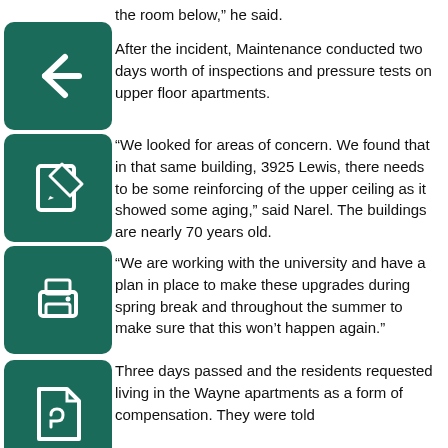the room below,” he said.
[Figure (illustration): Back arrow icon on dark teal rounded square]
After the incident, Maintenance conducted two days worth of inspections and pressure tests on upper floor apartments.
[Figure (illustration): Edit/pencil icon on dark teal rounded square]
“We looked for areas of concern. We found that in that same building, 3925 Lewis, there needs to be some reinforcing of the upper ceiling as it showed some aging,” said Narel. The buildings are nearly 70 years old.
[Figure (illustration): Printer icon on dark teal rounded square]
“We are working with the university and have a plan in place to make these upgrades during spring break and throughout the summer to make sure that this won’t happen again.”
[Figure (illustration): PDF/document icon on dark teal rounded square]
Three days passed and the residents requested living in the Wayne apartments as a form of compensation. They were told they would have to pay extra money. It was not until Singh contacted his older sister and U.S. legal guardian for legal advice.
“She’s the one that got the ball rolling for us to move to Wayne,” Singh said. Singh’s sister ended up calling the assistant director of housing and the following day, with the help of maintenance, the residents moved to Wayne.
Even after the move, the residents were not fully satisfied with